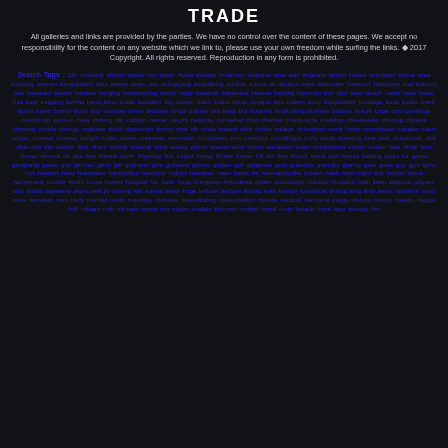TRADE
All galleries and links are provided by the parties. We have no control over the content of these pages. We accept no responsibility for the content on any website which we link to, please use your own freedom while surfing the links. ◆ 2017 Copyright. All rights reserved. Reproduction in any form is prohibited.
Search Tags : 18+ booklink african aspire ass bdsm 4lysia antalon american amputee anal asin angelina added kissed animation anime area smoking arabian bangladeshi amy ashley asian ass anlinggang bodyfaking auction advice all adultos babe babysitter backend backpage bad balcony ball balkanka balkan banana banging barebacking barely large baseball basement beckett bathing bancrom bbs bbw beer beach beate bear beast bed beer begging behind bend bwor bodal bestiality big bottom black board bisup blowjob bim coteen body bodybuilder bondage book books brent bordy beller bonny bornt boy bouncer breas bracelet bridal bubber bra betty but butterfly buttfucking butthole buttsex butork cage can cameflow candid car cartoon casa casting car catfight casual caught celebrity converted chat channel champagne cheating cheerleader checing chinese chewing chuble chungs cigarette clock classroom classy clips clit close coated cock coffee college colombian come comp compilation couples court coupe covered cowboy cowgirl crafts cream creampie cremsider crossdress cum cumshot cunnilingus curly credit dressing diva dark deepthroat dick dildo drip dpt double dpot dress driving ducking dune eating ebony enema ericit ethnic european exam exhibitionist exotic extrem face facial farm farmer farmed fat fata feet female fetish fingering first futged fisting fitness fucker full fox free french nasal fuck forced fucking fucko fur grape gangbang garter gay german gemr girl girlfriend girls girlfriend gloves golden golf gorgeous goth grandma grandps granny gree great guy gym gyno has hairless hairy halloween handcuffed hardcore haircut hawaiian heen herbs he hermaphrodite hidden haph hient hipni ihol hidden hema homemade hooker hindu horse horses hospital hot hotel huge hungarian hybridized indian indonesian induced husband bath keen identical jollyass kitty indian japanese jeans jerk jiz kissing kar karma latins huge lesbian lesbian licking lines lipstick lonercidal linking king letin leens machine maid male narration man multi married mask massage massive masturbating masturbation mature medical memorial meigs melons messy mexico midget milf military milk minnato miscs mix nudist models monster mother mited nude temple three also remedy the